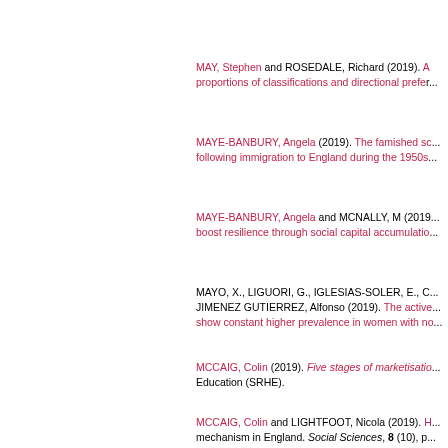MAY, Stephen and ROSEDALE, Richard (2019). A... proportions of classifications and directional prefer...
MAYE-BANBURY, Angela (2019). The famished sc... following immigration to England during the 1950s...
MAYE-BANBURY, Angela and MCNALLY, M (2019... boost resilience through social capital accumulatio...
MAYO, X., LIGUORI, G., IGLESIAS-SOLER, E., C... JIMENEZ GUTIERREZ, Alfonso (2019). The active... show constant higher prevalence in women with no...
MCCAIG, Colin (2019). Five stages of marketisatio... Education (SRHE).
MCCAIG, Colin and LIGHTFOOT, Nicola (2019). H... mechanism in England. Social Sciences, 8 (10), p....
MCCORMACK, TC (2019). All our ships are at sea...